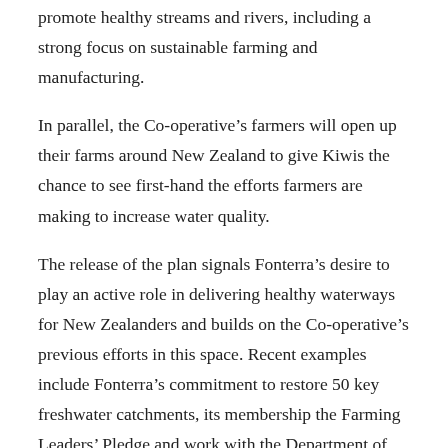promote healthy streams and rivers, including a strong focus on sustainable farming and manufacturing.
In parallel, the Co-operative’s farmers will open up their farms around New Zealand to give Kiwis the chance to see first-hand the efforts farmers are making to increase water quality.
The release of the plan signals Fonterra’s desire to play an active role in delivering healthy waterways for New Zealanders and builds on the Co-operative’s previous efforts in this space. Recent examples include Fonterra’s commitment to restore 50 key freshwater catchments, its membership the Farming Leaders’ Pledge and work with the Department of Conservation on the Living Water initiative.
Mike Horrell, Chief Operating Officer, Fonterra Farm Source...